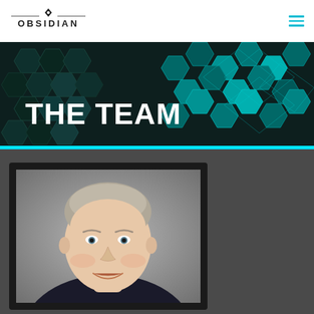[Figure (logo): Obsidian company logo with small diamond/gem icon above text OBSIDIAN, with horizontal lines on either side]
[Figure (other): Hamburger menu icon with three horizontal cyan/teal lines]
[Figure (illustration): Hero banner with dark teal/green hexagonal geometric pattern background]
THE TEAM
[Figure (photo): Professional headshot of a middle-aged man with grey hair, smiling, wearing a dark jacket, against a grey background, shown in a dark-framed portrait card]